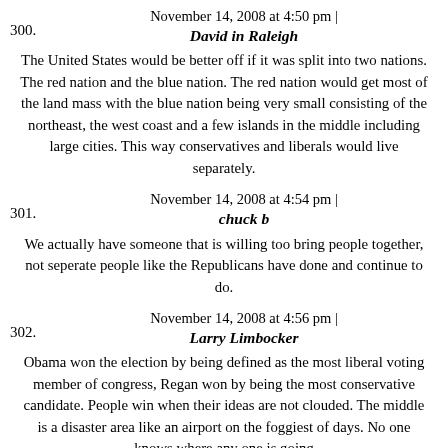November 14, 2008 at 4:50 pm | David in Raleigh
The United States would be better off if it was split into two nations. The red nation and the blue nation. The red nation would get most of the land mass with the blue nation being very small consisting of the northeast, the west coast and a few islands in the middle including large cities. This way conservatives and liberals would live separately.
November 14, 2008 at 4:54 pm | chuck b
We actually have someone that is willing too bring people together, not seperate people like the Republicans have done and continue to do.
November 14, 2008 at 4:56 pm | Larry Limbocker
Obama won the election by being defined as the most liberal voting member of congress, Regan won by being the most conservative candidate. People win when their ideas are not clouded. The middle is a disaster area like an airport on the foggiest of days. No one knows where any one is going